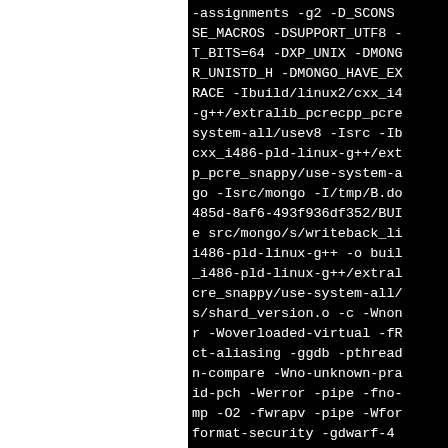-assignments -g2 -D_SCONS SE_MACROS -DSUPPORT_UTF8 -T_BITS=64 -DXP_UNIX -DMONGO_R_UNISTD_H -DMONGO_HAVE_EX RACE -Ibuild/linux2/cxx_i4 -g++/extralib_pcrecpp_pcre system-all/usev8 -Isrc -Ib cxx_i486-pld-linux-g++/ext p_pcre_snappy/use-system-a go -Isrc/mongo -I/tmp/B.do 485d-8af6-493f936df352/BUI e src/mongo/s/writeback_li i486-pld-linux-g++ -o buil _i486-pld-linux-g++/extral cre_snappy/use-system-all/ s/shard_version.o -c -Wnon r -Woverloaded-virtual -fR ct-aliasing -ggdb -pthread n-compare -Wno-unknown-pra id-pch -Werror -pipe -fno- mp -O2 -fwrapv -pipe -Wfor format-security -gdwarf-4 ypes-section -fvar-trackin s -g2 -Wn -D_FORTIFY_SOUR